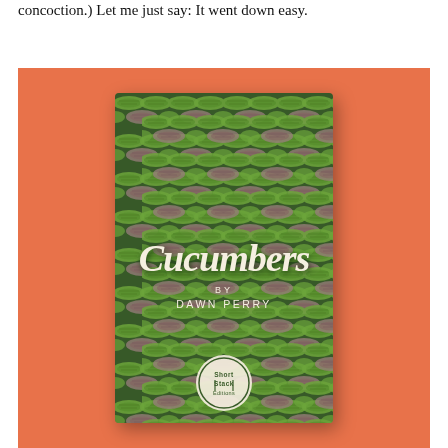concoction.) Let me just say: It went down easy.
[Figure (illustration): Book cover of 'Cucumbers by Dawn Perry' displayed against a salmon/coral orange background. The book cover features a repeating pattern of stylized green cucumber shapes woven together on a dark green background, with the title 'Cucumbers' in white cursive script, 'BY DAWN PERRY' in white uppercase text below, and a circular logo at the bottom.]